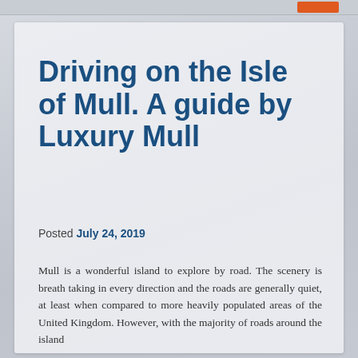Driving on the Isle of Mull. A guide by Luxury Mull
Posted July 24, 2019
Mull is a wonderful island to explore by road. The scenery is breath taking in every direction and the roads are generally quiet, at least when compared to more heavily populated areas of the United Kingdom. However, with the majority of roads around the island